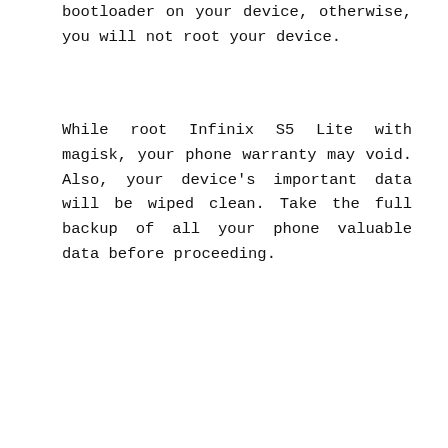bootloader on your device, otherwise, you will not root your device.
While root Infinix S5 Lite with magisk, your phone warranty may void. Also, your device's important data will be wiped clean. Take the full backup of all your phone valuable data before proceeding.